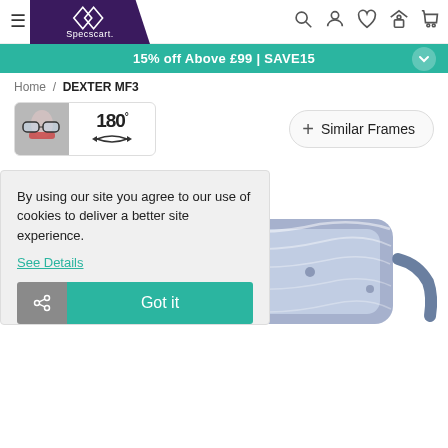[Figure (screenshot): Specscart website navigation header with hamburger menu, logo, and icons for search, account, wishlist, store, and cart]
15% off Above £99 | SAVE15
Home / DEXTER MF3
[Figure (screenshot): 180-degree view button showing a face thumbnail and 180° rotation icon, alongside a Similar Frames button]
[Figure (photo): Blue marbled acetate rectangular eyeglasses frames (DEXTER MF3) displayed against white background]
By using our site you agree to our use of cookies to deliver a better site experience.
See Details
Got it